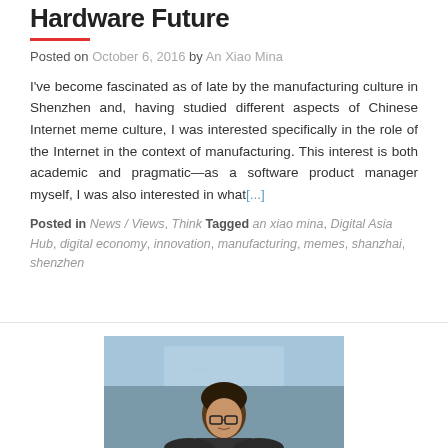Hardware Future
Posted on October 6, 2016 by An Xiao Mina
I've become fascinated as of late by the manufacturing culture in Shenzhen and, having studied different aspects of Chinese Internet meme culture, I was interested specifically in the role of the Internet in the context of manufacturing. This interest is both academic and pragmatic—as a software product manager myself, I was also interested in what[...]
Posted in News / Views, Think Tagged an xiao mina, Digital Asia Hub, digital economy, innovation, manufacturing, memes, shanzhai, shenzhen
[Figure (photo): Photo of a person with dark hair and glasses in front of a blue background, appearing to be at a conference or presentation.]